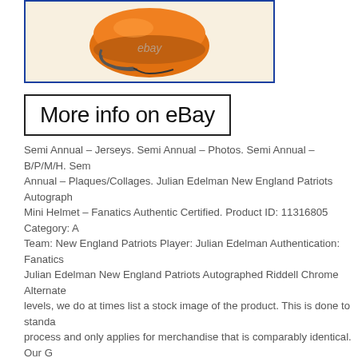[Figure (photo): Photo of an orange football mini helmet with eBay watermark, shown inside a blue-bordered box]
More info on eBay
Semi Annual – Jerseys. Semi Annual – Photos. Semi Annual – B/P/M/H. Semi Annual – Plaques/Collages. Julian Edelman New England Patriots Autographed Mini Helmet – Fanatics Authentic Certified. Product ID: 11316805 Category: A Team: New England Patriots Player: Julian Edelman Authentication: Fanatics Julian Edelman New England Patriots Autographed Riddell Chrome Alternate levels, we do at times list a stock image of the product. This is done to standa process and only applies for merchandise that is comparably identical. Our G reputation of each supplier we do business with is the reason we stand behin opened our hand-signed memorabilia division in 1996, we've built relationship memorabilia companies in the business. We will also be requiring a photo of i discrepancies, as the reason for return. If your product is damaged we requir of receipt, all claims after this period are not eligible for return. If a product is error, we will have the right to cancel orders of any such product. We do not g completeness or usefulness of any descriptions or other content as this is ma human error may exist. View more great items. Wilson Seahawks Signed Rid Fanatics. Russell Wilson Seattle Seahawks Signed Black Matte Alternate Spe Pittsburgh Steelers Signed Pro Mini Helmet w/ HOF 2015 Insc. JJ Arcega-Wh Autographed Riddell Speed Mini Helmet. This listing is currently undergoing n